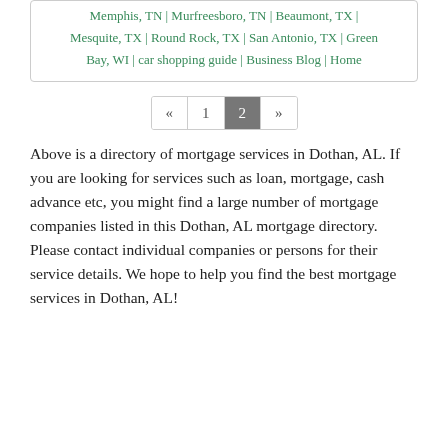Memphis, TN | Murfreesboro, TN | Beaumont, TX | Mesquite, TX | Round Rock, TX | San Antonio, TX | Green Bay, WI | car shopping guide | Business Blog | Home
« 1 2 »
Above is a directory of mortgage services in Dothan, AL. If you are looking for services such as loan, mortgage, cash advance etc, you might find a large number of mortgage companies listed in this Dothan, AL mortgage directory. Please contact individual companies or persons for their service details. We hope to help you find the best mortgage services in Dothan, AL!